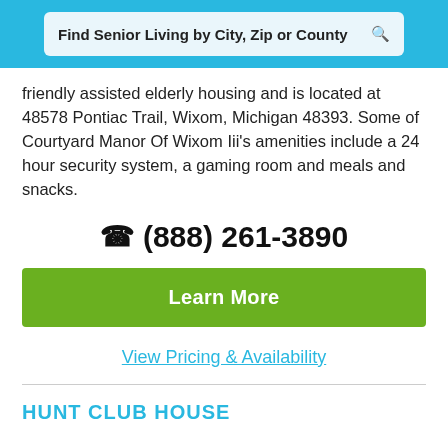Find Senior Living by City, Zip or County
friendly assisted elderly housing and is located at 48578 Pontiac Trail, Wixom, Michigan 48393. Some of Courtyard Manor Of Wixom Iii's amenities include a 24 hour security system, a gaming room and meals and snacks.
(888) 261-3890
Learn More
View Pricing & Availability
HUNT CLUB HOUSE